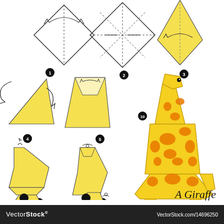[Figure (illustration): Step-by-step origami instructions for making a giraffe. Steps 1-9 show folding diagrams of paper progressing from a square with fold lines, through various intermediate folded shapes, to a nearly complete giraffe form. Step 10 shows the finished colorful origami giraffe with yellow body and orange spots, long neck raised upward. Each step is numbered with a black circle badge. The title 'A Giraffe' appears in italic serif text. A VectorStock watermark footer is at the bottom.]
VectorStock® VectorStock.com/14696250